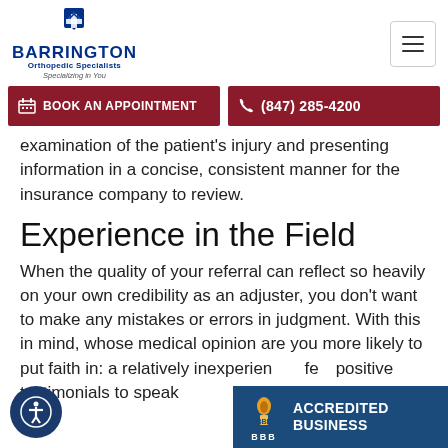[Figure (logo): Barrington Orthopedic Specialists logo with icon, name, and slogan 'Specializing in You']
[Figure (other): Hamburger menu button]
[Figure (other): Book an Appointment button (dark red)]
[Figure (other): (847) 285-4200 phone button (dark red)]
examination of the patient's injury and presenting information in a concise, consistent manner for the insurance company to review.
Experience in the Field
When the quality of your referral can reflect so heavily on your own credibility as an adjuster, you don't want to make any mistakes or errors in judgment. With this in mind, whose medical opinion are you more likely to put faith in: a relatively inexperienced few positive testimonials to speak
[Figure (logo): BBB Accredited Business badge in dark blue]
[Figure (other): Accessibility icon button (blue circle with person icon)]